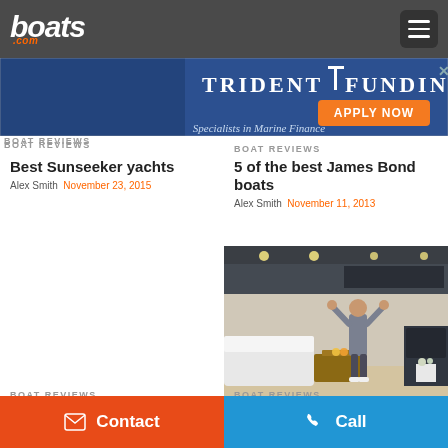boats.com
[Figure (screenshot): Trident Funding advertisement banner - Specialists in Marine Finance with APPLY NOW button]
BOAT REVIEWS
Best Sunseeker yachts
Alex Smith   November 23, 2015
BOAT REVIEWS
5 of the best James Bond boats
Alex Smith   November 11, 2013
[Figure (photo): Interior of a luxury yacht with a person standing with arms raised, white sofas and wood furniture visible]
BOAT REVIEWS
Sunseeker Manhattan 65 video:
BOAT REVIEWS
Sunseeker Predator 57 video:
Contact   Call